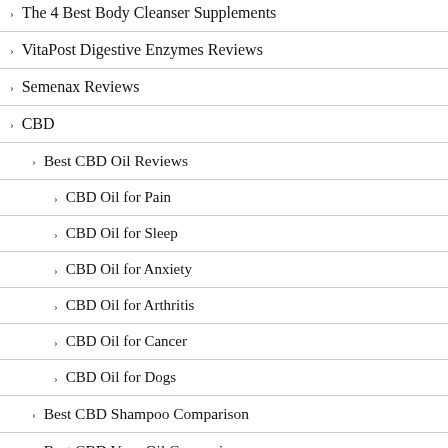The 4 Best Body Cleanser Supplements
VitaPost Digestive Enzymes Reviews
Semenax Reviews
CBD
Best CBD Oil Reviews
CBD Oil for Pain
CBD Oil for Sleep
CBD Oil for Anxiety
CBD Oil for Arthritis
CBD Oil for Cancer
CBD Oil for Dogs
Best CBD Shampoo Comparison
Best CBD Vape Oil Comparison
Best CBD Vape Cartridge Review